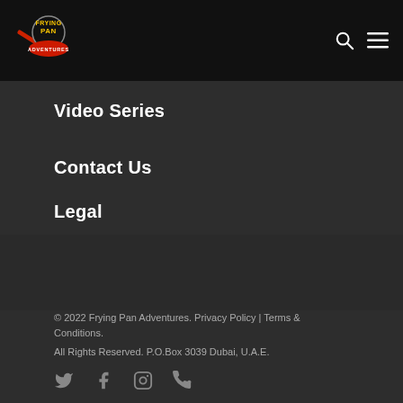[Figure (logo): Frying Pan Adventures logo — frying pan graphic with text 'FRYING PAN ADVENTURES' on a red badge, yellow lettering]
Navigation header with search icon and hamburger menu
Video Series
Contact Us
Legal
© 2022 Frying Pan Adventures. Privacy Policy | Terms & Conditions.
All Rights Reserved. P.O.Box 3039 Dubai, U.A.E.
[Figure (other): Social media icons row: Twitter, Facebook, Instagram, Phone]